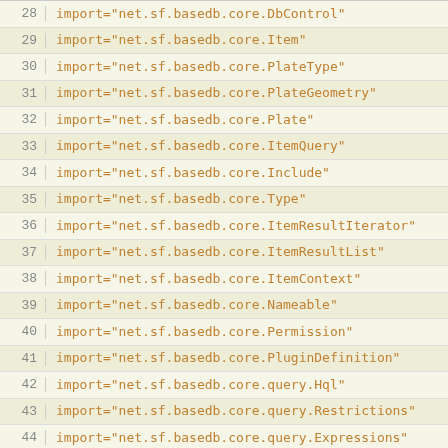28  import="net.sf.basedb.core.DbControl"
29  import="net.sf.basedb.core.Item"
30  import="net.sf.basedb.core.PlateType"
31  import="net.sf.basedb.core.PlateGeometry"
32  import="net.sf.basedb.core.Plate"
33  import="net.sf.basedb.core.ItemQuery"
34  import="net.sf.basedb.core.Include"
35  import="net.sf.basedb.core.Type"
36  import="net.sf.basedb.core.ItemResultIterator"
37  import="net.sf.basedb.core.ItemResultList"
38  import="net.sf.basedb.core.ItemContext"
39  import="net.sf.basedb.core.Nameable"
40  import="net.sf.basedb.core.Permission"
41  import="net.sf.basedb.core.PluginDefinition"
42  import="net.sf.basedb.core.query.Hql"
43  import="net.sf.basedb.core.query.Restrictions"
44  import="net.sf.basedb.core.query.Expressions"
45  import="net.sf.basedb.core.query.Orders"
46  import="net.sf.basedb.core.plugin.GuiContext"
47  import="net.sf.basedb.core.plugin.Plugin"
48  import="net.sf.basedb.core.query.Orders"
49  import="net.sf.basedb.core.query.Hql"
50  import="net.sf.basedb.util.Enumeration"
51  import="net.sf.basedb.util.ShareableUtil"
52  import="net.sf.basedb.clients.web.Base"
53  import="net.sf.basedb.clients.web.ModeInfo"
54  import="net.sf.basedb.clients.web.PermissionUtil"
55  import="net.sf.basedb.clients.web.util.HTML"
56  import="net.sf.basedb.util.Values"
57  import="net.sf.basedb.util.formatter.Formatter"
58  import="net.sf.basedb.clients.web.formatter.FormatterFact